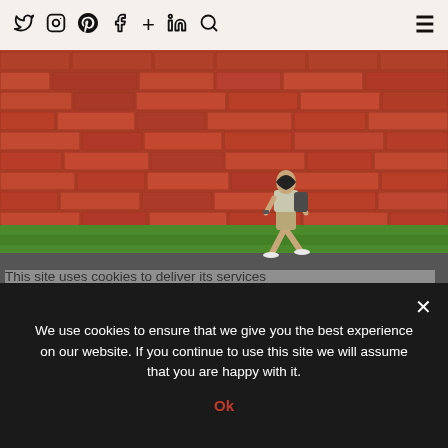Social media icons: Twitter, Instagram, Pinterest, Facebook, Plus, LinkedIn, Search | Hamburger menu
[Figure (photo): Woman walking along a path in front of a large red brick wall, with a green grass strip between wall and dark path. She is carrying a backpack and holding a phone, wearing shorts and a patterned top. A light grey overlay bar appears near the bottom of the image.]
This site uses cookies to deliver its services and to analyse traffic. By using this site, you
Under 30 Minutes
Read about its use of cookies. Learn more
We use cookies to ensure that we give you the best experience on our website. If you continue to use this site we will assume that you are happy with it.
Ok